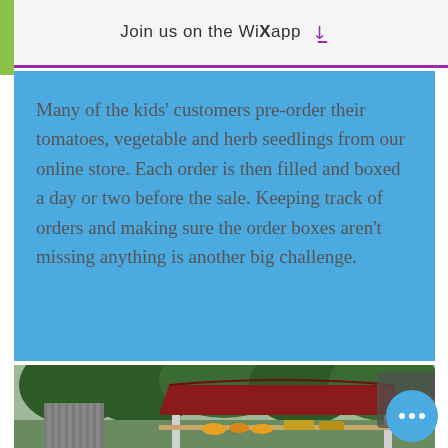Join us on the WiX app ⤓
Many of the kids' customers pre-order their tomatoes, vegetable and herb seedlings from our online store. Each order is then filled and boxed a day or two before the sale. Keeping track of orders and making sure the order boxes aren’t missing anything is another big challenge.
[Figure (photo): Outdoor farm stand / market booth with a dark red canopy roof, white posts, and produce on the table. Trees and greenery visible in the background. A blue circular button with three dots and a dark up-arrow button overlay the image.]